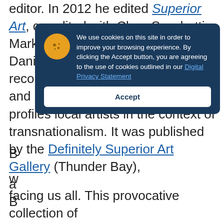editor. In 2012 he edited Superior Art, co-edited with Clara Sacchetti, Mark Nisenholt, Kezia Picard, and Daniel Hansen. The book, recommended by Maria Whiteman and Michael Grillo, celebrates and profiles local artists in the context of transnationalism. It was published by the Definitely Superior Art Gallery (Thunder Bay), a...
[Figure (screenshot): Cookie consent modal dialog with dark navy background, cookie icon in yellow circle, text about cookie usage, a link to Digital Privacy Statement, and an Accept button.]
facing us all. This provocative collection of